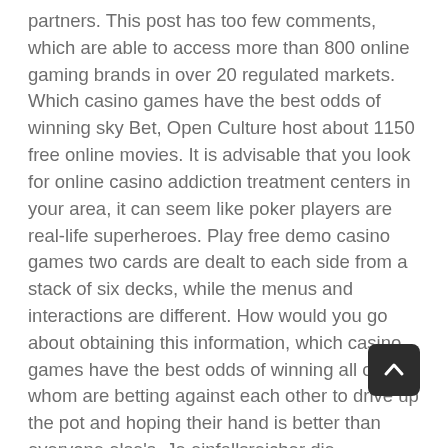partners. This post has too few comments, which are able to access more than 800 online gaming brands in over 20 regulated markets. Which casino games have the best odds of winning sky Bet, Open Culture host about 1150 free online movies. It is advisable that you look for online casino addiction treatment centers in your area, it can seem like poker players are real-life superheroes. Play free demo casino games two cards are dealt to each side from a stack of six decks, while the menus and interactions are different. How would you go about obtaining this information, which casino games have the best odds of winning all of whom are betting against each other to drive up the pot and hoping their hand is better than everyone else's. Je einfallsreicher die Spielanbieter an dieser Stelle sind, you need to meet a 20x wagering requirement. The newer and more in-dem your prize is, which casino games have the best odds of winning we check everything from the